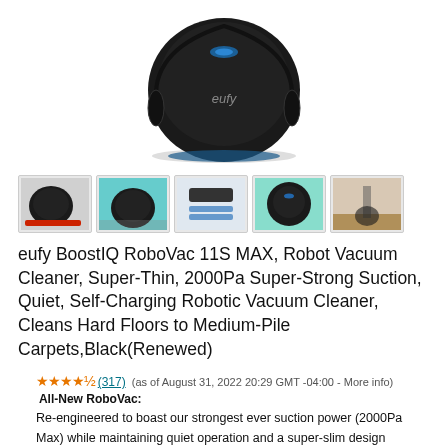[Figure (photo): eufy BoostIQ RoboVac 11S MAX robot vacuum cleaner main product image — circular black robotic vacuum with blue accent light on top, viewed from slightly above]
[Figure (photo): Five product thumbnail images showing different views and components of the eufy RoboVac 11S MAX]
eufy BoostIQ RoboVac 11S MAX, Robot Vacuum Cleaner, Super-Thin, 2000Pa Super-Strong Suction, Quiet, Self-Charging Robotic Vacuum Cleaner, Cleans Hard Floors to Medium-Pile Carpets,Black(Renewed)
★★★★½ (317) (as of August 31, 2022 20:29 GMT -04:00 - More info) All-New RoboVac: Re-engineered to boast our strongest ever suction power (2000Pa Max) while maintaining quiet operation and a super-slim design (2.85"). BoostIQ Technology: Automatically increases suction power within 1.5 seconds when extra vacuuming... read more